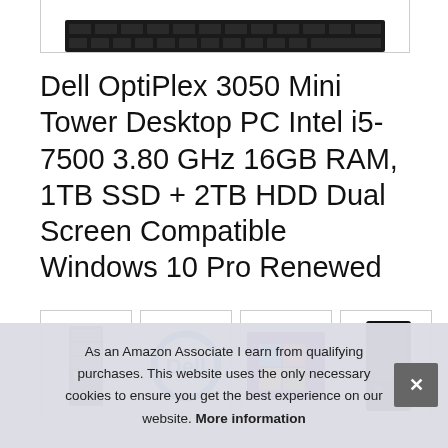[Figure (photo): Partial view of a keyboard at the top of the page, cropped, inside a bordered box]
Dell OptiPlex 3050 Mini Tower Desktop PC Intel i5-7500 3.80 GHz 16GB RAM, 1TB SSD + 2TB HDD Dual Screen Compatible Windows 10 Pro Renewed
[Figure (photo): Four thumbnail images: a small desktop PC tower, Dell logo in blue circle, Windows 10 Pro purple box artwork, and a black tower desktop PC]
As an Amazon Associate I earn from qualifying purchases. This website uses the only necessary cookies to ensure you get the best experience on our website. More information